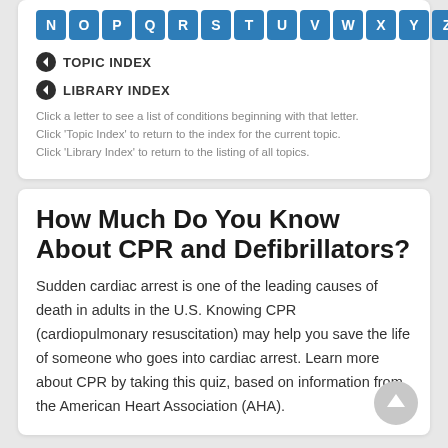[Figure (other): Navigation letter row showing N O P Q R S T U V W X Y Z as blue square buttons]
TOPIC INDEX
LIBRARY INDEX
Click a letter to see a list of conditions beginning with that letter. Click 'Topic Index' to return to the index for the current topic. Click 'Library Index' to return to the listing of all topics.
How Much Do You Know About CPR and Defibrillators?
Sudden cardiac arrest is one of the leading causes of death in adults in the U.S. Knowing CPR (cardiopulmonary resuscitation) may help you save the life of someone who goes into cardiac arrest. Learn more about CPR by taking this quiz, based on information from the American Heart Association (AHA).